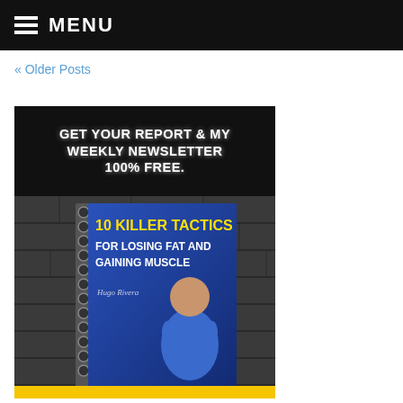MENU
« Older Posts
[Figure (illustration): Promotional banner advertisement showing text 'GET YOUR REPORT & MY WEEKLY NEWSLETTER 100% FREE.' on a dark background, below which is a book cover titled '10 KILLER TACTICS FOR LOSING FAT AND GAINING MUSCLE' by Hugo Rivera, shown against a concrete wall background.]